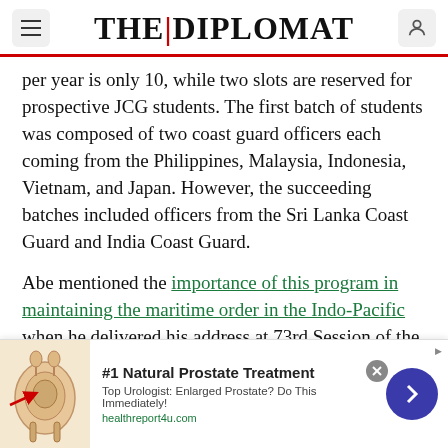THE DIPLOMAT
per year is only 10, while two slots are reserved for prospective JCG students. The first batch of students was composed of two coast guard officers each coming from the Philippines, Malaysia, Indonesia, Vietnam, and Japan. However, the succeeding batches included officers from the Sri Lanka Coast Guard and India Coast Guard.
Abe mentioned the importance of this program in maintaining the maritime order in the Indo-Pacific when he delivered his address at 73rd Session of the United Nations General Assembly. Every year, the graduates of this program come back to Japan
[Figure (infographic): Advertisement banner: #1 Natural Prostate Treatment. Top Urologist: Enlarged Prostate? Do This Immediately! healthreport4u.com. Contains medical illustration of prostate anatomy.]